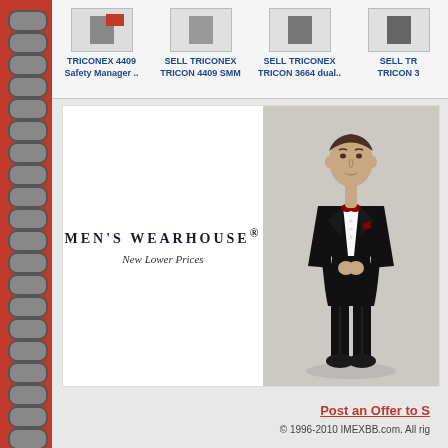[Figure (other): Product listing thumbnails for TRICONEX 4409 Safety Manager, SELL TRICONEX TRICON 4409 SMM, SELL TRICONEX TRICON 3664 dual, SELL TRICONEX TRICON 3]
TRICONEX 4409 Safety Manager ..
SELL TRICONEX TRICON 4409 SMM
SELL TRICONEX TRICON 3664 dual..
SELL TR TRICON 3
[Figure (photo): Men's Wearhouse advertisement showing a man in a black tuxedo with red bow tie and pocket square, alongside the brand name MEN'S WEARHOUSE and tagline New Lower Prices]
MEN'S WEARHOUSE®
New Lower Prices
Post an Offer to S
© 1996-2010 IMEXBB.com. All rig